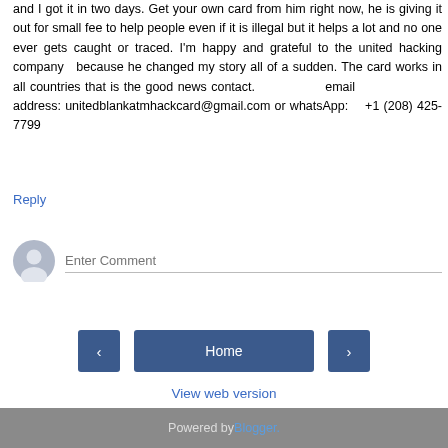and I got it in two days. Get your own card from him right now, he is giving it out for small fee to help people even if it is illegal but it helps a lot and no one ever gets caught or traced. I'm happy and grateful to the united hacking company  because he changed my story all of a sudden. The card works in all countries that is the good news contact.                   email                   address: unitedblankatmhackcard@gmail.com or whatsApp:   +1 (208) 425-7799
Reply
[Figure (illustration): User avatar icon - grey circle with person silhouette]
Enter Comment
[Figure (infographic): Navigation bar with left arrow button, Home button, and right arrow button]
View web version
Powered by Blogger.